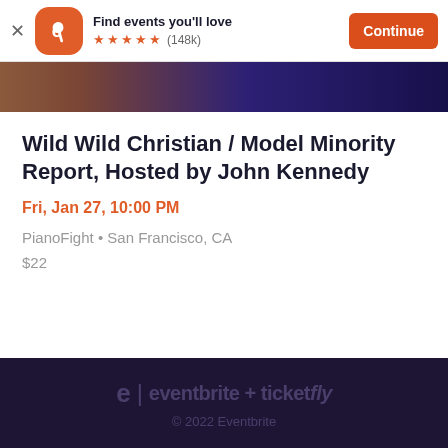Find events you'll love ★★★★★ (148k) Continue
[Figure (photo): Partial event banner image showing person with orange/brown tones on left and dark blue background on right]
Wild Wild Christian / Model Minority Report, Hosted by John Kennedy
Fri, Jan 27, 10:00 PM
PianoFight • San Francisco, CA
$22
eventbrite + ticketfly © 2022 Eventbrite